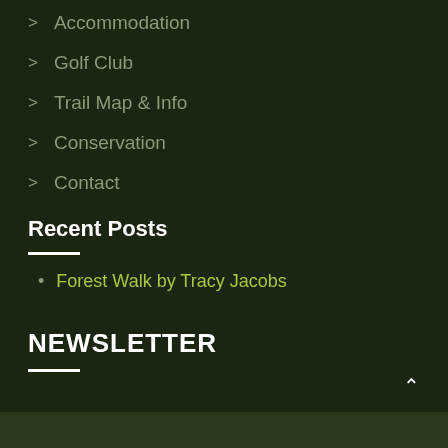Accommodation
Golf Club
Trail Map & Info
Conservation
Contact
Recent Posts
Forest Walk by Tracy Jacobs
NEWSLETTER